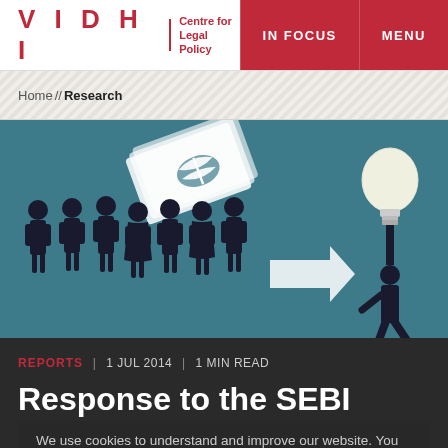VIDHI | Centre for Legal Policy | IN FOCUS | MENU
Home // Research
[Figure (illustration): Illustration on teal/blue background showing silhouettes of a group of people on the left with a stack of money/bills floating above them, a large white arrow pointing right in the middle, and a single person on the right holding up a glowing light bulb above their head.]
REPORTS | 1 JUL 2014 | 1 MIN READ
Response to the SEBI
We use cookies to understand and improve our website. You can disable cookies at any time by following the steps listed